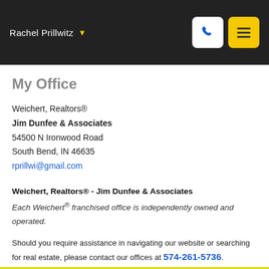Rachel Prillwitz
My Office
Weichert, Realtors®
Jim Dunfee & Associates
54500 N Ironwood Road
South Bend, IN 46635
rprillwi@gmail.com
Weichert, Realtors® - Jim Dunfee & Associates
Each Weichert® franchised office is independently owned and operated.
Should you require assistance in navigating our website or searching for real estate, please contact our offices at 574-261-5736.